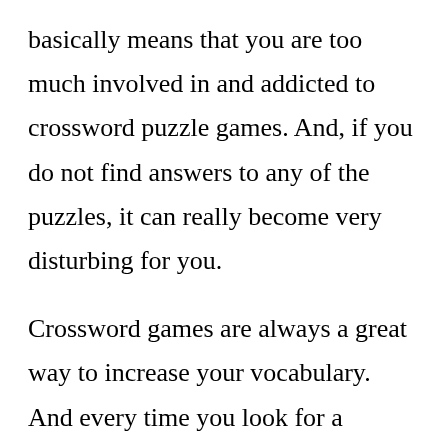basically means that you are too much involved in and addicted to crossword puzzle games. And, if you do not find answers to any of the puzzles, it can really become very disturbing for you.
Crossword games are always a great way to increase your vocabulary. And every time you look for a crossword clue, you learn a new word. That is how you increase your word stock. When this word will appear in another puzzle game, bingo! You know the word